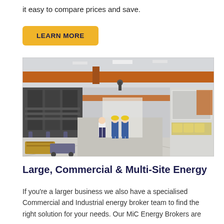it easy to compare prices and save.
LEARN MORE
[Figure (photo): Industrial warehouse interior showing overhead orange cranes, large electrical transformers on the left, workers in hard hats and blue overalls walking down the center aisle, and industrial equipment on the right side.]
Large, Commercial & Multi-Site Energy
If you're a larger business we also have a specialised Commercial and Industrial energy broker team to find the right solution for your needs. Our MiC Energy Brokers are